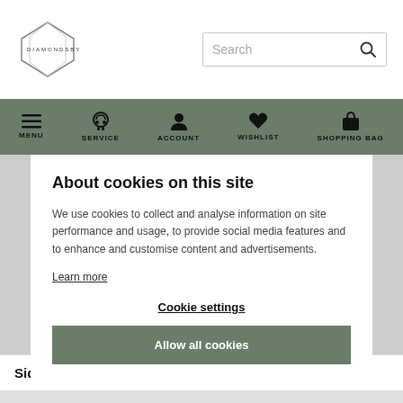[Figure (logo): DiamondsByMe logo — geometric diamond shape outline with text DIAMONDSBYME]
[Figure (screenshot): Search box with placeholder text 'Search' and search icon]
[Figure (screenshot): Navigation bar with icons: MENU (hamburger), SERVICE (headphones), ACCOUNT (person), WISHLIST (heart), SHOPPING BAG (bag)]
About cookies on this site
We use cookies to collect and analyse information on site performance and usage, to provide social media features and to enhance and customise content and advertisements.
Learn more
Cookie settings
Allow all cookies
Side stones 3